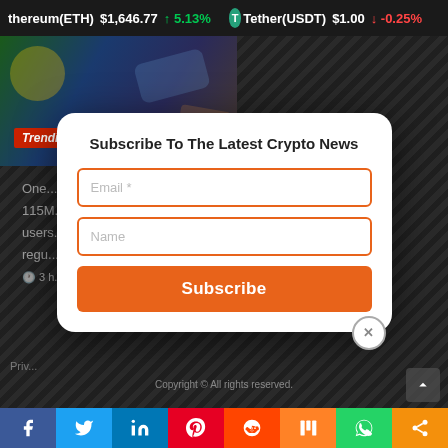ethereum(ETH) $1,646.77 ↑ 5.13% Tether(USDT) $1.00 ↓ -0.25%
[Figure (screenshot): Trending Crypto News banner image with green and blue tones]
One ... 115M ... users ... regu... 3 h...
Subscribe To The Latest Crypto News
Email *
Name
Subscribe
Copyright © All rights reserved.
Priv...